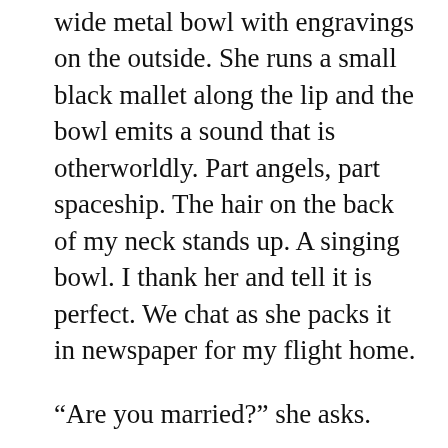wide metal bowl with engravings on the outside. She runs a small black mallet along the lip and the bowl emits a sound that is otherworldly. Part angels, part spaceship. The hair on the back of my neck stands up. A singing bowl. I thank her and tell it is perfect. We chat as she packs it in newspaper for my flight home.
“Are you married?” she asks.
“I’m not,” I say.
“Ever been married?”
“Never,” I say. I didn’t mean to be a 40-year-old single woman. It just happened, I often say, although that isn’t quite accurate. Choices